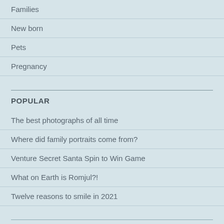Families
New born
Pets
Pregnancy
POPULAR
The best photographs of all time
Where did family portraits come from?
Venture Secret Santa Spin to Win Game
What on Earth is Romjul?!
Twelve reasons to smile in 2021